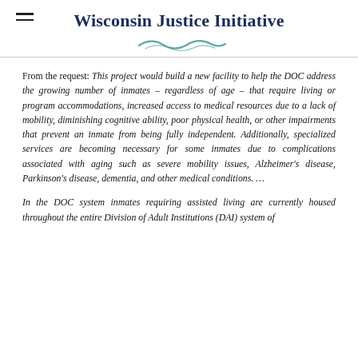Wisconsin Justice Initiative
From the request: This project would build a new facility to help the DOC address the growing number of inmates – regardless of age – that require living or program accommodations, increased access to medical resources due to a lack of mobility, diminishing cognitive ability, poor physical health, or other impairments that prevent an inmate from being fully independent. Additionally, specialized services are becoming necessary for some inmates due to complications associated with aging such as severe mobility issues, Alzheimer's disease, Parkinson's disease, dementia, and other medical conditions. ...
In the DOC system inmates requiring assisted living are currently housed throughout the entire Division of Adult Institutions (DAI) system of